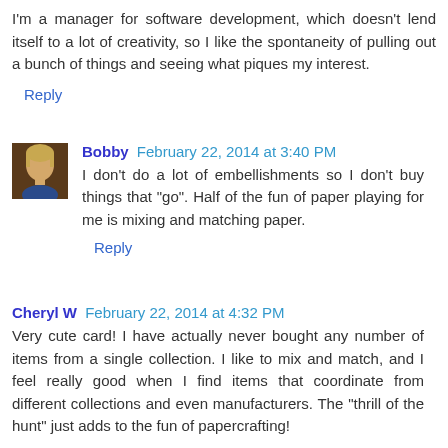I'm a manager for software development, which doesn't lend itself to a lot of creativity, so I like the spontaneity of pulling out a bunch of things and seeing what piques my interest.
Reply
Bobby February 22, 2014 at 3:40 PM
I don't do a lot of embellishments so I don't buy things that "go". Half of the fun of paper playing for me is mixing and matching paper.
Reply
Cheryl W February 22, 2014 at 4:32 PM
Very cute card! I have actually never bought any number of items from a single collection. I like to mix and match, and I feel really good when I find items that coordinate from different collections and even manufacturers. The "thrill of the hunt" just adds to the fun of papercrafting!